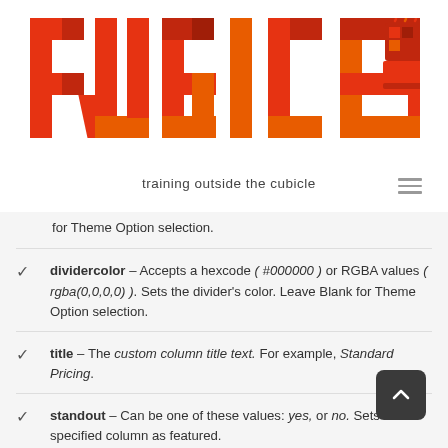[Figure (logo): Rubicle logo with colorful block lettering and a coffee cup icon, tagline: training outside the cubicle]
for Theme Option selection.
dividercolor – Accepts a hexcode ( #000000 ) or RGBA values ( rgba(0,0,0,0) ). Sets the divider's color. Leave Blank for Theme Option selection.
title – The custom column title text. For example, Standard Pricing.
standout – Can be one of these values: yes, or no. Sets the specified column as featured.